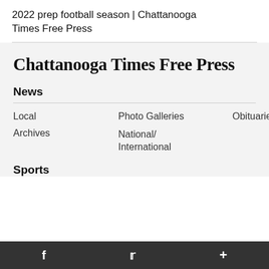2022 prep football season | Chattanooga Times Free Press
[Figure (logo): Chattanooga Times Free Press masthead logo in blackletter/gothic font]
News
Local
Photo Galleries
Obituaries
Archives
National/International
Sports
f     🐦  🖣